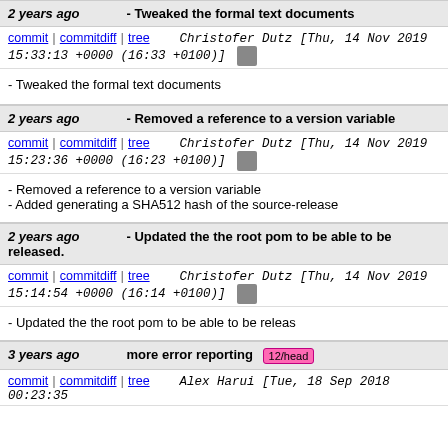2 years ago - Tweaked the formal text documents
commit | commitdiff | tree   Christofer Dutz [Thu, 14 Nov 2019 15:33:13 +0000 (16:33 +0100)]
- Tweaked the formal text documents
2 years ago - Removed a reference to a version variable
commit | commitdiff | tree   Christofer Dutz [Thu, 14 Nov 2019 15:23:36 +0000 (16:23 +0100)]
- Removed a reference to a version variable
- Added generating a SHA512 hash of the source-release
2 years ago - Updated the the root pom to be able to be released.
commit | commitdiff | tree   Christofer Dutz [Thu, 14 Nov 2019 15:14:54 +0000 (16:14 +0100)]
- Updated the the root pom to be able to be releas
3 years ago more error reporting 12/head
commit | commitdiff | tree   Alex Harui [Tue, 18 Sep 2018 00:23:35